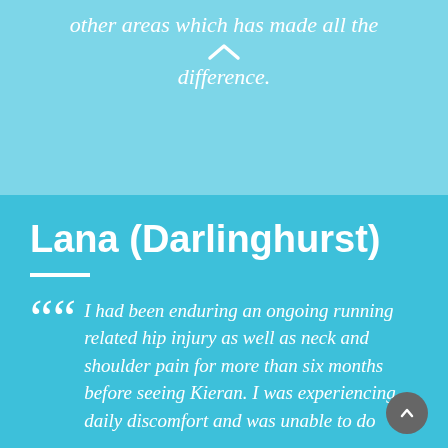other areas which has made all the difference.
Lana (Darlinghurst)
I had been enduring an ongoing running related hip injury as well as neck and shoulder pain for more than six months before seeing Kieran. I was experiencing daily discomfort and was unable to do